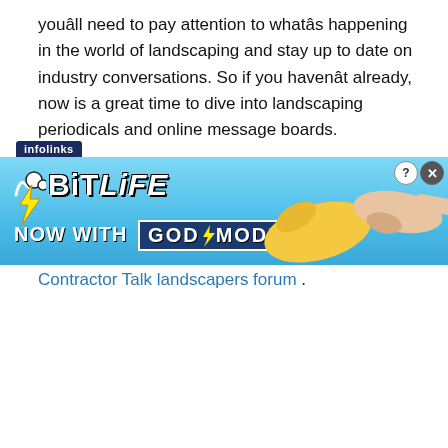youâll need to pay attention to whatâs happening in the world of landscaping and stay up to date on industry conversations. So if you havenât already, now is a great time to dive into landscaping periodicals and online message boards.
To start, bookmark the Landscape Management blog . Subscribe to Lawn and Landscape Magazine . Ask other landscapers questions at the Contractor Talk landscapers forum .
[Figure (screenshot): infolinks ad banner for BitLife game — 'NOW WITH GOD MODE' — with hand pointing graphic on blue gradient background]